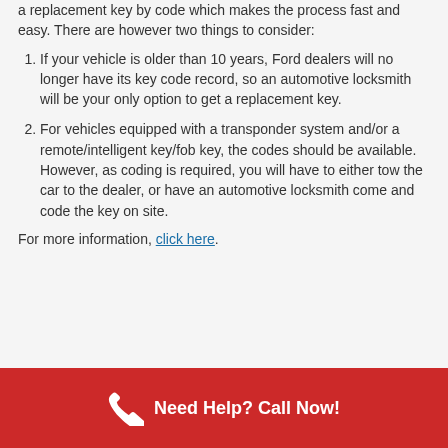a replacement key by code which makes the process fast and easy. There are however two things to consider:
If your vehicle is older than 10 years, Ford dealers will no longer have its key code record, so an automotive locksmith will be your only option to get a replacement key.
For vehicles equipped with a transponder system and/or a remote/intelligent key/fob key, the codes should be available. However, as coding is required, you will have to either tow the car to the dealer, or have an automotive locksmith come and code the key on site.
For more information, click here.
Need Help? Call Now!